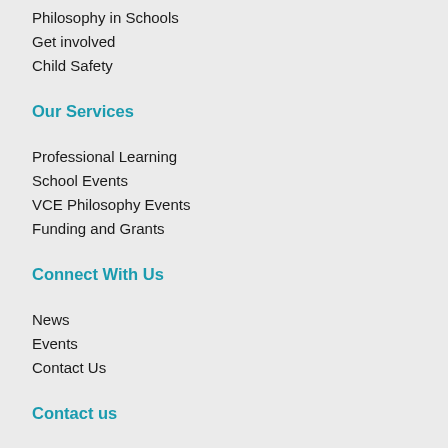Philosophy in Schools
Get involved
Child Safety
Our Services
Professional Learning
School Events
VCE Philosophy Events
Funding and Grants
Connect With Us
News
Events
Contact Us
Contact us